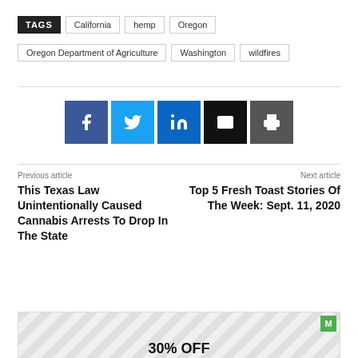TAGS | California | hemp | Oregon | Oregon Department of Agriculture | Washington | wildfires
[Figure (other): Social share buttons: Facebook, Twitter, LinkedIn, Email, Print]
Previous article
This Texas Law Unintentionally Caused Cannabis Arrests To Drop In The State
Next article
Top 5 Fresh Toast Stories Of The Week: Sept. 11, 2020
[Figure (other): Advertisement banner showing 30% OFF with diagonal stripe pattern and green M badge]